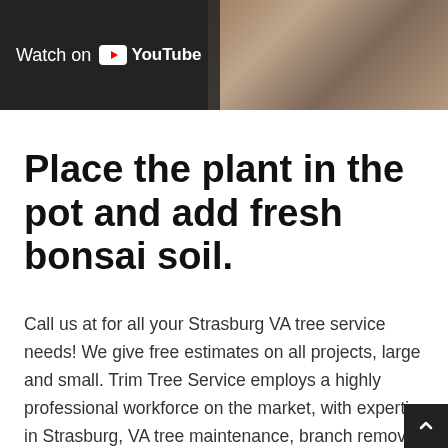[Figure (screenshot): YouTube video thumbnail/banner showing 'Watch on YouTube' overlay with dark semi-transparent background on the left, and a photo of hands working with bonsai/plant on the right]
Place the plant in the pot and add fresh bonsai soil.
Call us at for all your Strasburg VA tree service needs! We give free estimates on all projects, large and small. Trim Tree Service employs a highly professional workforce on the market, with expertise in Strasburg, VA tree maintenance, branch removal, and foliage upkeep. We're prepared to see that all your ideas conclude precisely as you hope. Satisfaction guaranteed. ABC Tree Service Pros offers knowledgeable and efficient Strasburg tree removal for your property's trees, whatever the types or position in your land, so they can be appreciated for years m